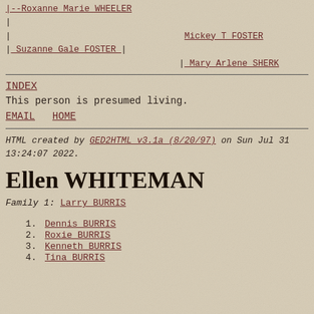|--Roxanne Marie WHEELER
|
|
| Suzanne Gale FOSTER |
Mickey T FOSTER
Mary Arlene SHERK
INDEX
This person is presumed living.
EMAIL  HOME
HTML created by GED2HTML v3.1a (8/20/97) on Sun Jul 31 13:24:07 2022.
Ellen WHITEMAN
Family 1: Larry BURRIS
1. Dennis BURRIS
2. Roxie BURRIS
3. Kenneth BURRIS
4. Tina BURRIS